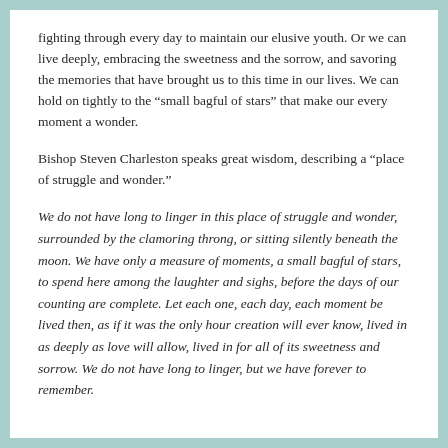fighting through every day to maintain our elusive youth. Or we can live deeply, embracing the sweetness and the sorrow, and savoring the memories that have brought us to this time in our lives. We can hold on tightly to the “small bagful of stars” that make our every moment a wonder.
Bishop Steven Charleston speaks great wisdom, describing a “place of struggle and wonder.”
We do not have long to linger in this place of struggle and wonder, surrounded by the clamoring throng, or sitting silently beneath the moon. We have only a measure of moments, a small bagful of stars, to spend here among the laughter and sighs, before the days of our counting are complete. Let each one, each day, each moment be lived then, as if it was the only hour creation will ever know, lived in as deeply as love will allow, lived in for all of its sweetness and sorrow. We do not have long to linger, but we have forever to remember.